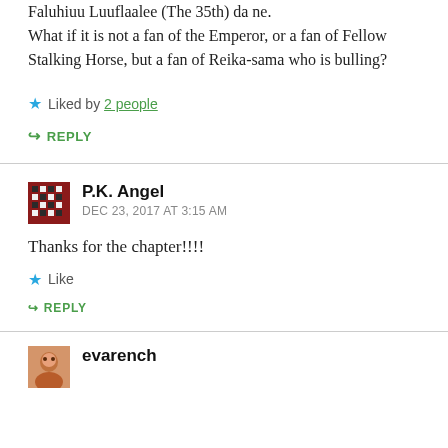Faluhiuu Luuflaalee (The 35th) da ne. What if it is not a fan of the Emperor, or a fan of Fellow Stalking Horse, but a fan of Reika-sama who is bulling?
★ Liked by 2 people
↪ REPLY
P.K. Angel
DEC 23, 2017 AT 3:15 AM
Thanks for the chapter!!!!
★ Like
↪ REPLY
evarench